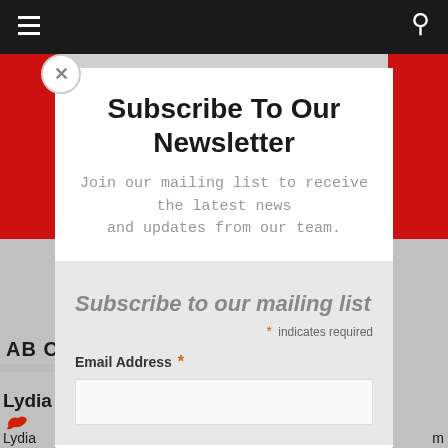[Figure (screenshot): Dark navigation bar with hamburger menu icon on left and search icon on right]
Subscribe To Our Newsletter
Join our mailing list to receive the latest news and updates from our team.
Subscribe to our mailing list
* indicates required
Email Address *